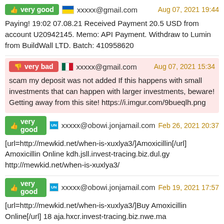very good  xxxxx@gmail.com  Aug 07, 2021 19:44
Paying! 19:02 07.08.21 Received Payment 20.5 USD from account U20942145. Memo: API Payment. Withdraw to Lumin from BuildWall LTD. Batch: 410958620
very bad  xxxxx@gmail.com  Aug 07, 2021 15:34
scam my deposit was not added If this happens with small investments that can happen with larger investments, beware! Getting away from this site! https://i.imgur.com/9bueqlh.png
very good  xxxxx@obowi.jonjamail.com  Feb 26, 2021 20:37
[url=http://mewkid.net/when-is-xuxlya3/]Amoxicillin[/url] Amoxicillin Online kdh.jsll.invest-tracing.biz.dul.gy http://mewkid.net/when-is-xuxlya3/
very good  xxxxx@obowi.jonjamail.com  Feb 19, 2021 17:57
[url=http://mewkid.net/when-is-xuxlya3/]Buy Amoxicillin Online[/url] 18 aja.hxcr.invest-tracing.biz.nwe.ma http://mewkid.net/when-is-xuxlya3/